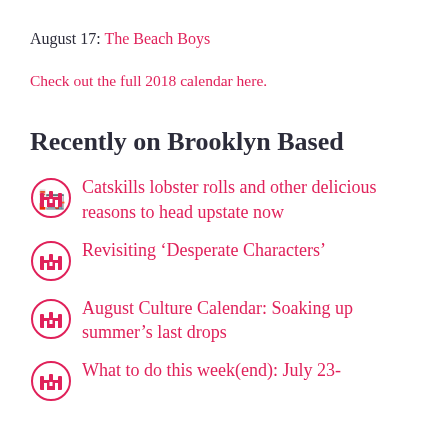August 17: The Beach Boys
Check out the full 2018 calendar here.
Recently on Brooklyn Based
Catskills lobster rolls and other delicious reasons to head upstate now
Revisiting ‘Desperate Characters’
August Culture Calendar: Soaking up summer’s last drops
What to do this week(end): July 23-